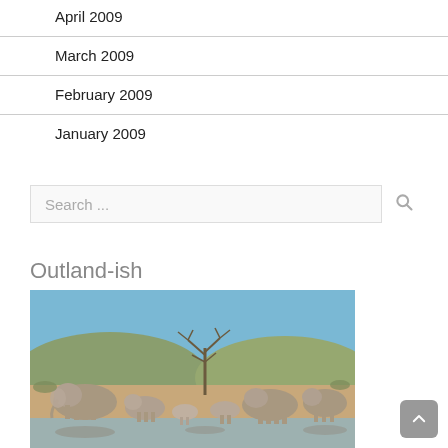April 2009
March 2009
February 2009
January 2009
Search ...
Outland-ish
[Figure (photo): A herd of elephants gathered at a watering hole in an African savanna landscape, with a dead tree in the centre background and hills behind under a blue sky.]